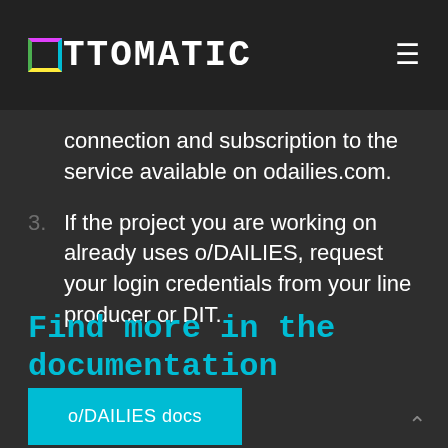OTTOMATIC
connection and subscription to the service available on odailies.com.
3. If the project you are working on already uses o/DAILIES, request your login credentials from your line producer or DIT.
Find more in the documentation
o/DAILIES docs